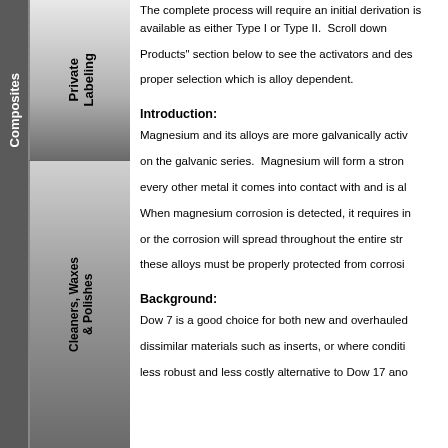[Figure (other): Left navigation sidebar with rotated category tabs: 'Composites', 'Private Labeling', and 'Cleaners, Waxes & Polishes' on a dark gray gradient background]
The complete process will require an initial derivation is available as either Type I or Type II. Scroll down Products" section below to see the activators and des proper selection which is alloy dependent.
Introduction:
Magnesium and its alloys are more galvanically activ on the galvanic series. Magnesium will form a stron every other metal it comes into contact with and is al When magnesium corrosion is detected, it requires in or the corrosion will spread throughout the entire str these alloys must be properly protected from corrosi
Background:
Dow 7 is a good choice for both new and overhauled dissimilar materials such as inserts, or where conditi less robust and less costly alternative to Dow 17 ano